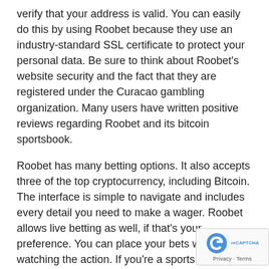verify that your address is valid. You can easily do this by using Roobet because they use an industry-standard SSL certificate to protect your personal data. Be sure to think about Roobet's website security and the fact that they are registered under the Curacao gambling organization. Many users have written positive reviews regarding Roobet and its bitcoin sportsbook.
Roobet has many betting options. It also accepts three of the top cryptocurrency, including Bitcoin. The interface is simple to navigate and includes every detail you need to make a wager. Roobet allows live betting as well, if that's your preference. You can place your bets while you're watching the action. If you're a sports fan, you'll love the experience at Roobet!
The Roobet sportsbook is another option added to Roobet the crypto-casino. It is home to more than 200 games this is an amazing amount. The brand new sportsbook is available in 15 languages and offers many games. You'll be able to enjoy any of your games of choice such as American Football, while using your bitcoins. The interface is easy for users to navigate and is available in 15 languages.